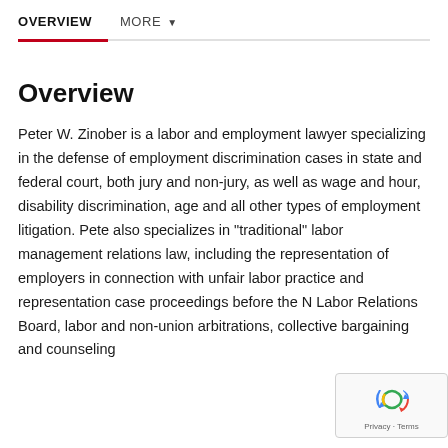OVERVIEW   MORE ▼
Overview
Peter W. Zinober is a labor and employment lawyer specializing in the defense of employment discrimination cases in state and federal court, both jury and non-jury, as well as wage and hour, disability discrimination, age and all other types of employment litigation. Pete also specializes in "traditional" labor management relations law, including the representation of employers in connection with unfair labor practice and representation case proceedings before the N Labor Relations Board, labor and non-union arbitrations, collective bargaining and counseling